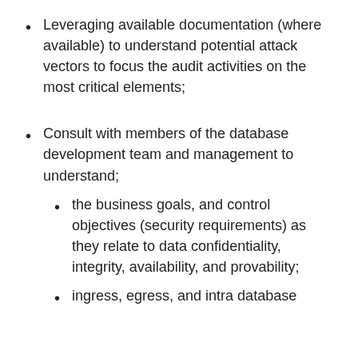Leveraging available documentation (where available) to understand potential attack vectors to focus the audit activities on the most critical elements;
Consult with members of the database development team and management to understand;
the business goals, and control objectives (security requirements) as they relate to data confidentiality, integrity, availability, and provability;
ingress, egress, and intra database